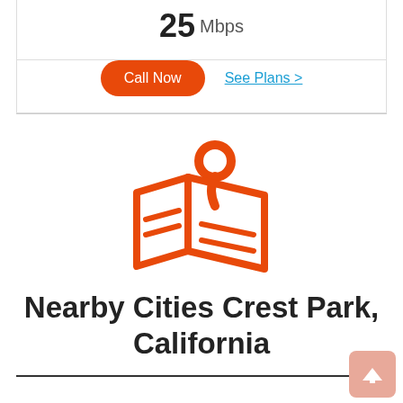25 Mbps
Call Now
See Plans >
[Figure (illustration): Orange map pin / location marker icon above a stylized folded map illustration, all in orange color]
Nearby Cities Crest Park, California